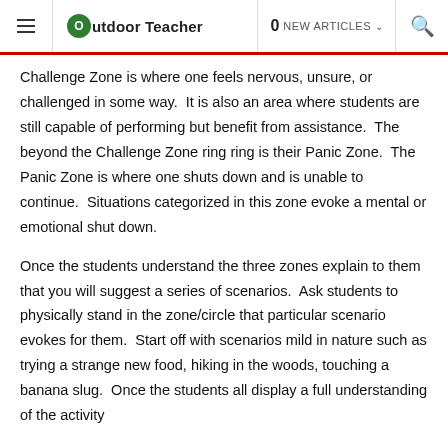Outdoor Teacher | 0 NEW ARTICLES | Search
Challenge Zone is where one feels nervous, unsure, or challenged in some way.  It is also an area where students are still capable of performing but benefit from assistance.  The beyond the Challenge Zone ring ring is their Panic Zone.  The Panic Zone is where one shuts down and is unable to continue.  Situations categorized in this zone evoke a mental or emotional shut down.
Once the students understand the three zones explain to them that you will suggest a series of scenarios.  Ask students to physically stand in the zone/circle that particular scenario evokes for them.  Start off with scenarios mild in nature such as trying a strange new food, hiking in the woods, touching a banana slug.  Once the students all display a full understanding of the activity